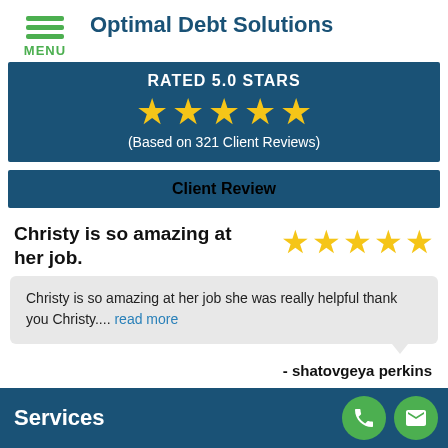Optimal Debt Solutions
RATED 5.0 STARS
(Based on 321 Client Reviews)
Client Review
Christy is so amazing at her job.
Christy is so amazing at her job she was really helpful thank you Christy.... read more
- shatovgeya perkins
Services